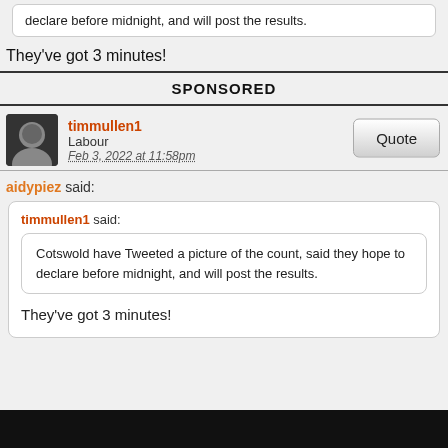declare before midnight, and will post the results.
They've got 3 minutes!
SPONSORED
timmullen1
Labour
Feb 3, 2022 at 11:58pm
aidypiez said:
timmullen1 said:
Cotswold have Tweeted a picture of the count, said they hope to declare before midnight, and will post the results.
They've got 3 minutes!